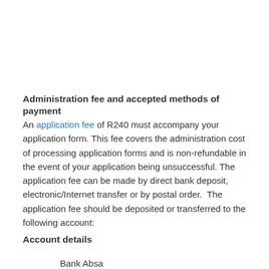Administration fee and accepted methods of payment
An application fee of R240 must accompany your application form. This fee covers the administration cost of processing application forms and is non-refundable in the event of your application being unsuccessful. The application fee can be made by direct bank deposit, electronic/Internet transfer or by postal order. The application fee should be deposited or transferred to the following account:
Account details
Bank: Absa